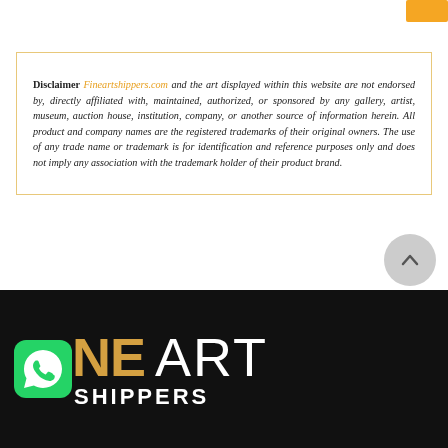Disclaimer Fineartshippers.com and the art displayed within this website are not endorsed by, directly affiliated with, maintained, authorized, or sponsored by any gallery, artist, museum, auction house, institution, company, or another source of information herein. All product and company names are the registered trademarks of their original owners. The use of any trade name or trademark is for identification and reference purposes only and does not imply any association with the trademark holder of their product brand.
[Figure (logo): Fine Art Shippers logo with WhatsApp icon, 'NE' in gold, 'ART' in white, and 'SHIPPERS' in white bold text, on a black background]